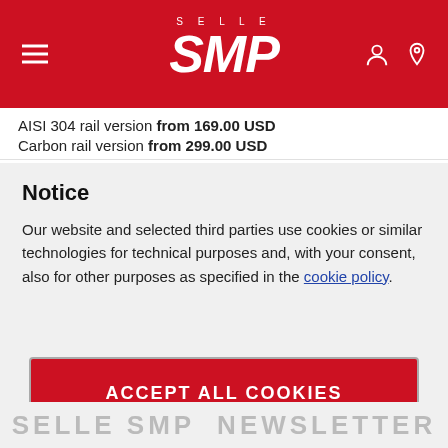Selle SMP
AISI 304 rail version from 169.00 USD
Carbon rail version from 299.00 USD
Notice
Our website and selected third parties use cookies or similar technologies for technical purposes and, with your consent, also for other purposes as specified in the cookie policy.
ACCEPT ALL COOKIES
PRIVACY PREFERENCES
SELLE SMP  NEWSLETTER